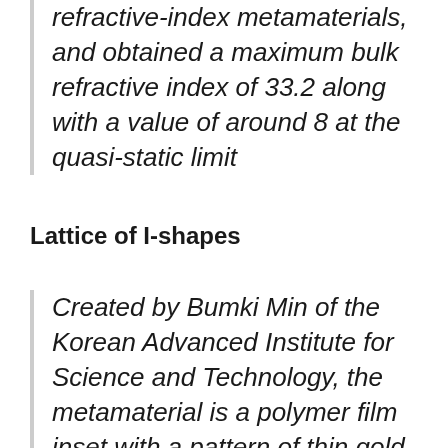refractive-index metamaterials, and obtained a maximum bulk refractive index of 33.2 along with a value of around 8 at the quasi-static limit
Lattice of I-shapes
Created by Bumki Min of the Korean Advanced Institute for Science and Technology, the metamaterial is a polymer film inset with a pattern of thin gold or aluminium shapes. The team